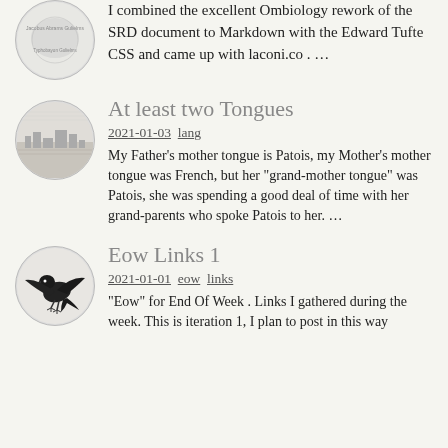I combined the excellent Ombiology rework of the SRD document to Markdown with the Edward Tufte CSS and came up with laconi.co . …
At least two Tongues
2021-01-03  lang
My Father's mother tongue is Patois, my Mother's mother tongue was French, but her "grand-mother tongue" was Patois, she was spending a good deal of time with her grand-parents who spoke Patois to her. …
Eow Links 1
2021-01-01  eow  links
"Eow" for End Of Week . Links I gathered during the week. This is iteration 1, I plan to post in this way